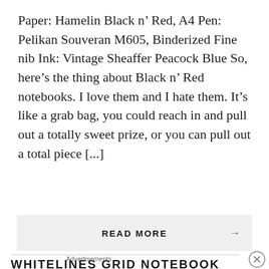Paper: Hamelin Black n' Red, A4 Pen: Pelikan Souveran M605, Binderized Fine nib Ink: Vintage Sheaffer Peacock Blue So, here's the thing about Black n' Red notebooks. I love them and I hate them. It's like a grab bag, you could reach in and pull out a totally sweet prize, or you can pull out a total piece [...]
READ MORE →
WHITELINES GRID NOTEBOOK
Advertisements